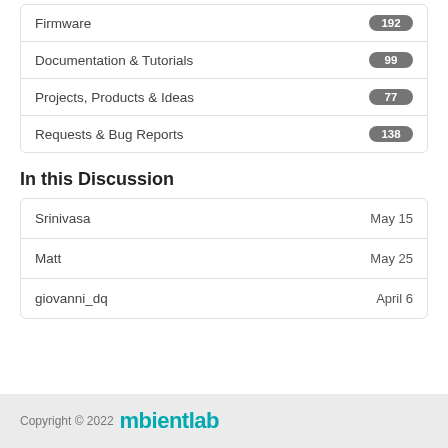| Category | Count |
| --- | --- |
| Firmware | 192 |
| Documentation & Tutorials | 99 |
| Projects, Products & Ideas | 77 |
| Requests & Bug Reports | 138 |
In this Discussion
| User | Date |
| --- | --- |
| Srinivasa | May 15 |
| Matt | May 25 |
| giovanni_dq | April 6 |
Copyright © 2022 mbientlab